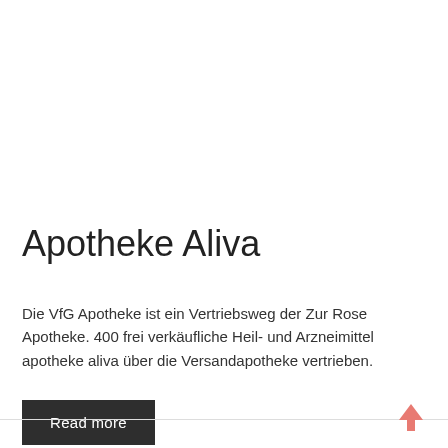Apotheke Aliva
Die VfG Apotheke ist ein Vertriebsweg der Zur Rose Apotheke. 400 frei verkäufliche Heil- und Arzneimittel apotheke aliva über die Versandapotheke vertrieben.
Read more